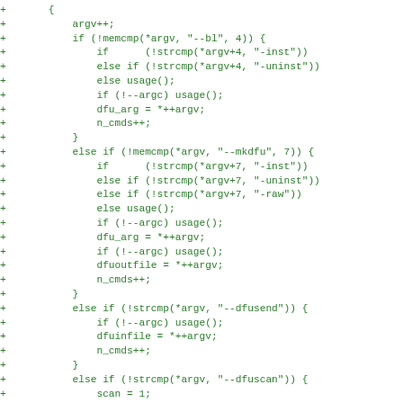Diff/patch code snippet showing added lines with + markers for argument parsing logic including --bl, --mkdfu, --dfusend, and --dfuscan options